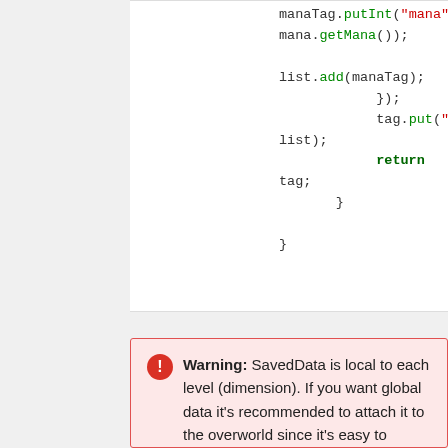[Figure (screenshot): Code block showing Java/Minecraft mod code: manaTag.putInt("mana", mana.getMana()); list.add(manaTag); }); tag.put("mana", list); return tag; } }]
Warning: SavedData is local to each level (dimension). If you want global data it's recommended to attach it to the overworld since it's easy to access that at